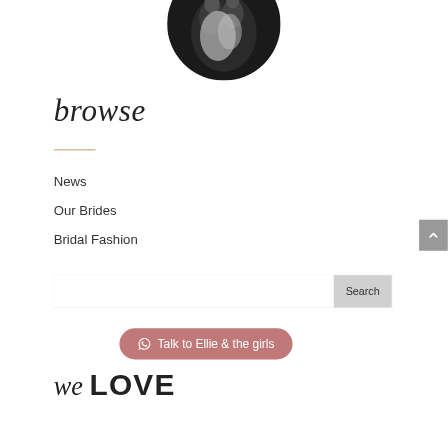[Figure (photo): Black and white circular cropped photo of a wedding couple, partially visible at top]
browse
[Figure (other): Short decorative horizontal line in warm tan/beige color]
News
Our Brides
Bridal Fashion
[Figure (other): Search input box with Search button on the right]
[Figure (other): WhatsApp chat pill button: Talk to Ellie & the girls]
we LOVE